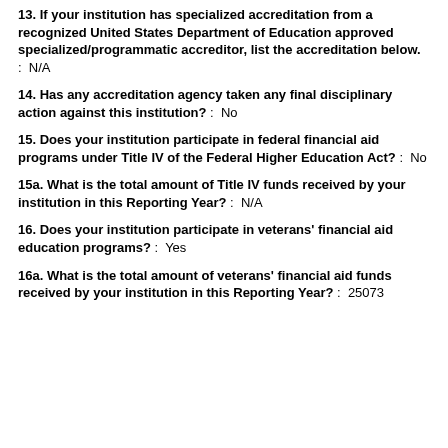13. If your institution has specialized accreditation from a recognized United States Department of Education approved specialized/programmatic accreditor, list the accreditation below. :  N/A
14. Has any accreditation agency taken any final disciplinary action against this institution? :  No
15. Does your institution participate in federal financial aid programs under Title IV of the Federal Higher Education Act? :  No
15a. What is the total amount of Title IV funds received by your institution in this Reporting Year? :  N/A
16. Does your institution participate in veterans' financial aid education programs? :  Yes
16a. What is the total amount of veterans' financial aid funds received by your institution in this Reporting Year? :  25073